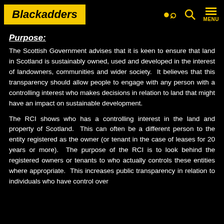Blackadders
Purpose:
The Scottish Government advises that it is keen to ensure that land in Scotland is sustainably owned, used and developed in the interest of landowners, communities and wider society.  It believes that this transparency should allow people to engage with any person with a controlling interest who makes decisions in relation to land that might have an impact on sustainable development.
The RCI shows who has a controlling interest in the land and property of Scotland.  This can often be a different person to the entity registered as the owner (or tenant in the case of leases for 20 years or more).  The purpose of the RCI is to look behind the registered owners or tenants to who actually controls these entities where appropriate.  This increases public transparency in relation to individuals who have control over